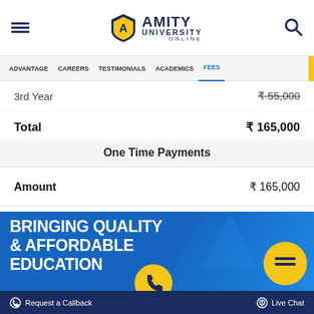[Figure (logo): Amity University Online logo with shield emblem]
ADVANTAGE   CAREERS   TESTIMONIALS   ACADEMICS   FEES
|  |  |
| --- | --- |
| 3rd Year | ₹ 55,000 |
| Total | ₹ 165,000 |
One Time Payments
|  |  |
| --- | --- |
| Amount | ₹ 165,000 |
[Figure (infographic): Blue banner with bold white text: BRINGING QUALITY & AFFORDABLE EDUCATION, with yellow chat bubble and phone icons]
Request a Callback   Live Chat